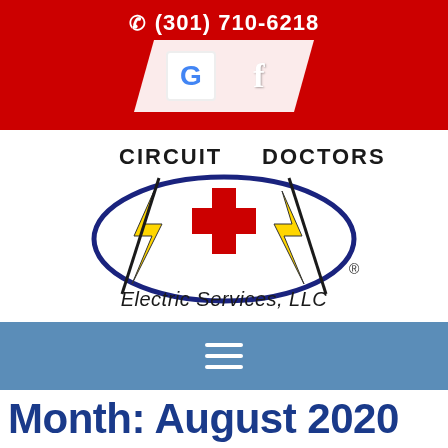(301) 710-6218
[Figure (logo): Circuit Doctors Electric Services LLC logo with red cross, yellow lightning bolts, blue oval, and company name]
[Figure (infographic): Blue navigation bar with hamburger menu icon (three white horizontal lines)]
Month: August 2020